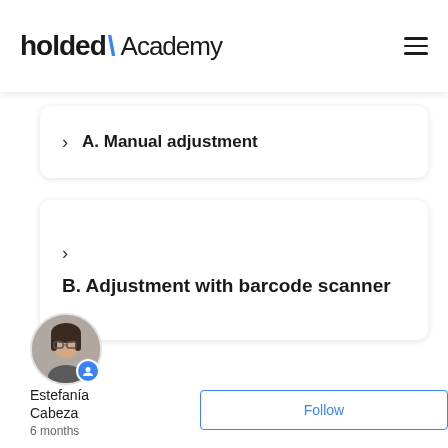holded \ Academy
A. Manual adjustment
B. Adjustment with barcode scanner
[Figure (photo): Author avatar of Estefanía Cabeza with blue badge icon, followed by name and follow button]
Estefanía Cabeza
6 months